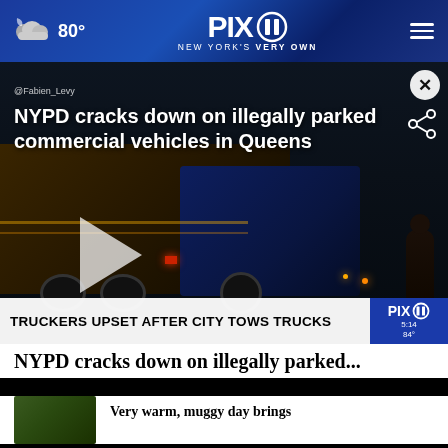PIX11 NEW YORK'S VERY OWN | 80°
[Figure (screenshot): News video thumbnail showing NYPD cracking down on illegally parked commercial vehicles in Queens. Shows trucks on a dark street with NYPD officers. Lower third reads: TRUCKERS UPSET AFTER CITY TOWS TRUCKS. PIX11 logo with 5:14 and 84° shown. Large play button overlay.]
NYPD cracks down on illegally parked...
[Figure (screenshot): Related story thumbnail image]
Very warm, muggy day brings